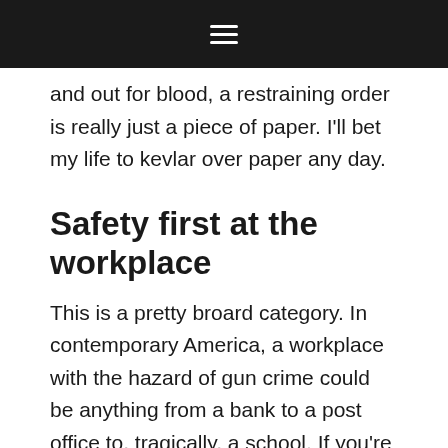≡
and out for blood, a restraining order is really just a piece of paper. I'll bet my life to kevlar over paper any day.
Safety first at the workplace
This is a pretty broard category. In contemporary America, a workplace with the hazard of gun crime could be anything from a bank to a post office to, tragically, a school. If you're a private security guard or bail bondsman, this article isn't telling you anything you don't already know. However, even if you just work late somewhere shady or run delivery, body armor could quite literally be a